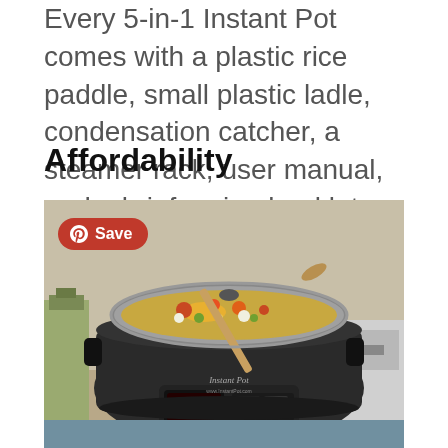Every 5-in-1 Instant Pot comes with a plastic rice paddle, small plastic ladle, condensation catcher, a steamer rack, user manual, and a brief recipe booklet.
Affordability
[Figure (photo): Photo of an open Instant Pot pressure cooker filled with vegetables and a wooden spoon resting across the top. A Pinterest 'Save' button overlay appears in the top-left of the image. Other kitchen appliances are visible in the background.]